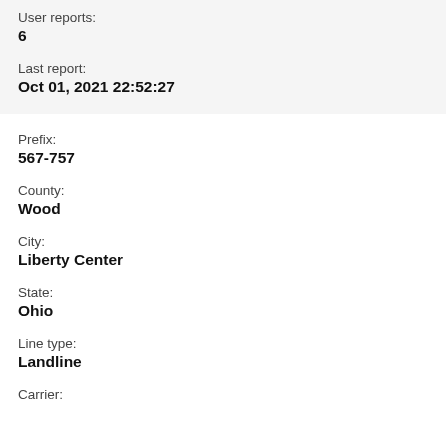User reports:
6
Last report:
Oct 01, 2021 22:52:27
Prefix:
567-757
County:
Wood
City:
Liberty Center
State:
Ohio
Line type:
Landline
Carrier: